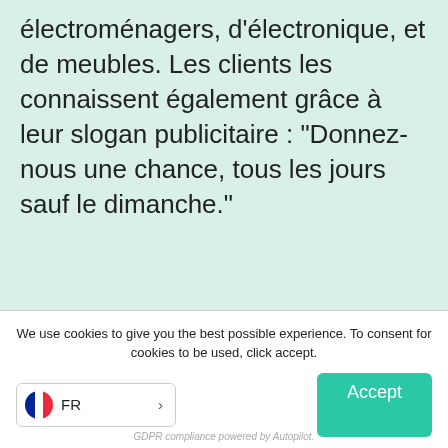électroménagers, d'électronique, et de meubles. Les clients les connaissent également grâce à leur slogan publicitaire : "Donnez-nous une chance, tous les jours sauf le dimanche."
We use cookies to give you the best possible experience. To consent for cookies to be used, click accept.
FR >
Accept
GDPR compliance powered by Autopilot.